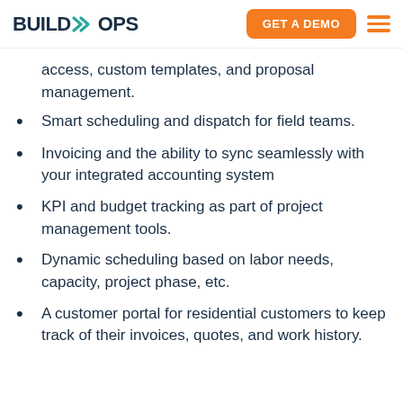BUILDOPS | GET A DEMO
access, custom templates, and proposal management.
Smart scheduling and dispatch for field teams.
Invoicing and the ability to sync seamlessly with your integrated accounting system
KPI and budget tracking as part of project management tools.
Dynamic scheduling based on labor needs, capacity, project phase, etc.
A customer portal for residential customers to keep track of their invoices, quotes, and work history.